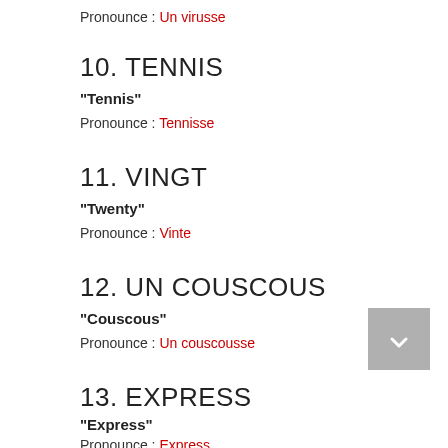Pronounce : Un virusse
10. TENNIS
"Tennis"
Pronounce : Tennisse
11. VINGT
"Twenty"
Pronounce : Vinte
12. UN COUSCOUS
"Couscous"
Pronounce : Un couscousse
13. EXPRESS
"Express"
Pronounce : Express